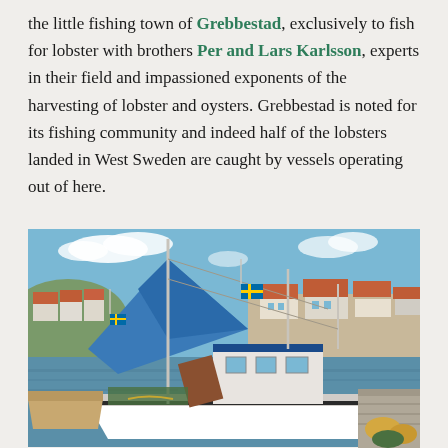the little fishing town of Grebbestad, exclusively to fish for lobster with brothers Per and Lars Karlsson, experts in their field and impassioned exponents of the harvesting of lobster and oysters. Grebbestad is noted for its fishing community and indeed half of the lobsters landed in West Sweden are caught by vessels operating out of here.
[Figure (photo): A fishing boat docked in a harbor in Grebbestad, Sweden. The boat is white with a large blue sail/tarpaulin, and has fishing equipment and nets on deck. In the background are typical Swedish houses with red/orange roofs and other boats in the harbor. Blue sky with some clouds.]